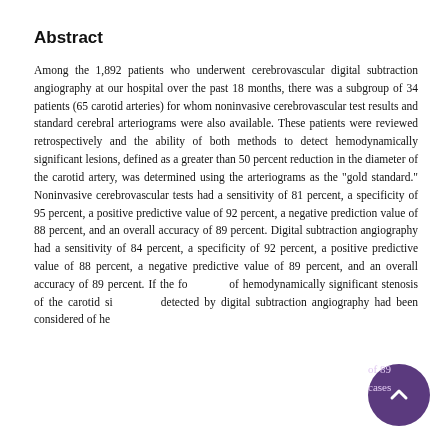Abstract
Among the 1,892 patients who underwent cerebrovascular digital subtraction angiography at our hospital over the past 18 months, there was a subgroup of 34 patients (65 carotid arteries) for whom noninvasive cerebrovascular test results and standard cerebral arteriograms were also available. These patients were reviewed retrospectively and the ability of both methods to detect hemodynamically significant lesions, defined as a greater than 50 percent reduction in the diameter of the carotid artery, was determined using the arteriograms as the "gold standard." Noninvasive cerebrovascular tests had a sensitivity of 81 percent, a specificity of 95 percent, a positive predictive value of 92 percent, a negative prediction value of 88 percent, and an overall accuracy of 89 percent. Digital subtraction angiography had a sensitivity of 84 percent, a specificity of 92 percent, a positive predictive value of 88 percent, a negative predictive value of 89 percent, and an overall accuracy of 89 percent. If the four cases of hemodynamically significant stenosis of the carotid siphon not detected by digital subtraction angiography had been considered of hemodynamic importance, it would have been reduced to 77